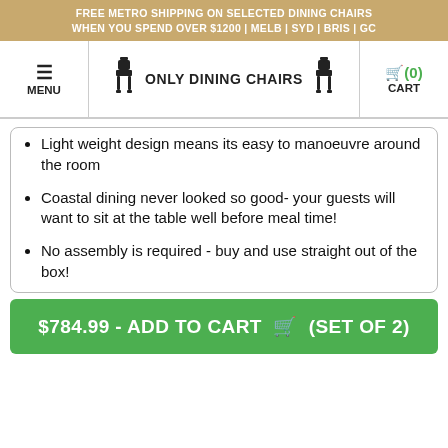FREE METRO SHIPPING ON SELECTED DINING CHAIRS WHEN YOU SPEND OVER $1200 | MELB | SYD | BRIS | GC
MENU | ONLY DINING CHAIRS | CART (0)
Light weight design means its easy to manoeuvre around the room
Coastal dining never looked so good- your guests will want to sit at the table well before meal time!
No assembly is required - buy and use straight out of the box!
$784.99 - ADD TO CART (SET OF 2)